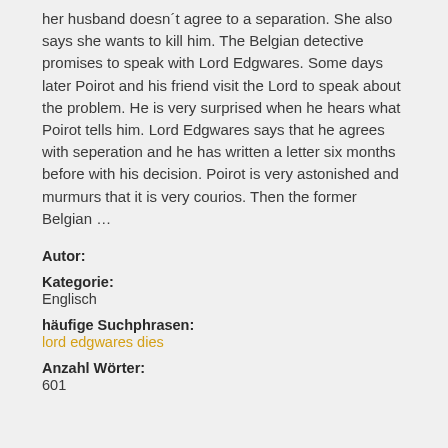her husband doesn´t agree to a separation. She also says she wants to kill him. The Belgian detective promises to speak with Lord Edgwares. Some days later Poirot and his friend visit the Lord to speak about the problem. He is very surprised when he hears what Poirot tells him. Lord Edgwares says that he agrees with seperation and he has written a letter six months before with his decision. Poirot is very astonished and murmurs that it is very courios. Then the former Belgian ...
Autor:
Kategorie:
Englisch
häufige Suchphrasen:
lord edgwares dies
Anzahl Wörter:
601